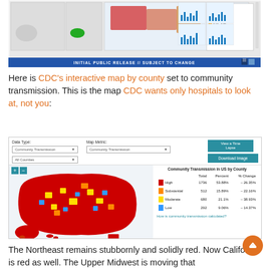[Figure (screenshot): Top portion of a CDC COVID-19 community transmission map with small US state maps, a color legend, and bar charts on the right side. Banner reads INITIAL PUBLIC RELEASE // SUBJECT TO CHANGE.]
Here is CDC's interactive map by county set to community transmission. This is the map CDC wants only hospitals to look at, not you:
[Figure (screenshot): CDC interactive map screenshot showing Community Transmission in US by County with Data Type and Map Metric dropdowns set to Community Transmission, All Counties dropdown, +/- map zoom buttons, View a Time Lapse and Download Image buttons, a US county-level choropleth map colored red/orange/yellow/blue, and a legend table showing High 1736 53.88% -26.35%, Substantial 512 15.89% -22.16%, Moderate 680 21.1% -38.93%, Low 292 9.06% -14.37%, with a link How is community transmission calculated?]
The Northeast remains stubbornly and solidly red. Now California is red as well. The Upper Midwest is moving that